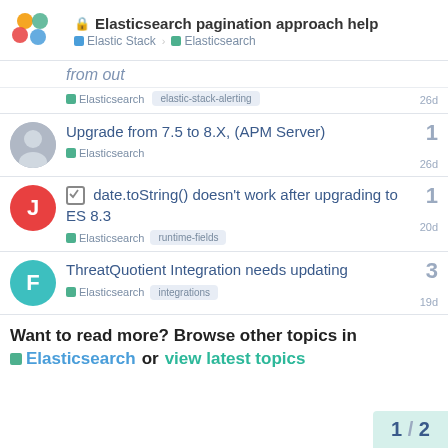Elasticsearch pagination approach help — Elastic Stack / Elasticsearch
from out
Elasticsearch  elastic-stack-alerting  26d
Upgrade from 7.5 to 8.X, (APM Server) — Elasticsearch — 26d — 1 reply
✓ date.toString() doesn't work after upgrading to ES 8.3 — Elasticsearch  runtime-fields — 20d — 1 reply
ThreatQuotient Integration needs updating — Elasticsearch  integrations — 19d — 3 replies
Want to read more? Browse other topics in Elasticsearch or view latest topics
1 / 2